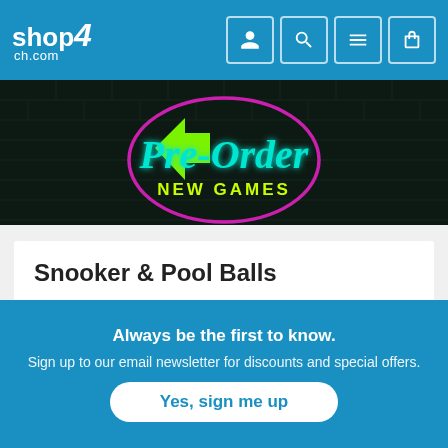[Figure (logo): shop4ch.com logo in white text on blue header]
[Figure (screenshot): Pre-Order New Games neon sign banner on dark background]
Snooker & Pool Balls
Best Match (dropdown) | Hide (dropdown)
No results found.
Always be the first to know.
Sign up to our email newsletter for discounts and special offers.
Yes, sign me up